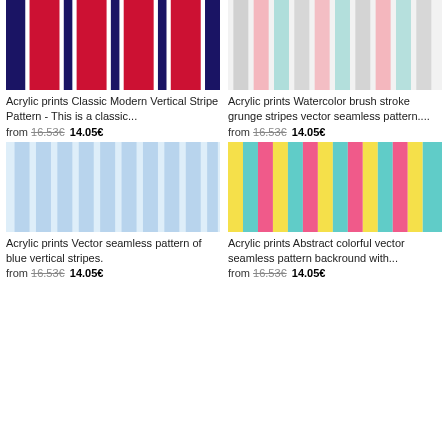[Figure (illustration): Acrylic print showing classic modern vertical stripe pattern in dark navy, red, and white stripes]
Acrylic prints Classic Modern Vertical Stripe Pattern - This is a classic...
from 16.53€ 14.05€
[Figure (illustration): Acrylic print showing watercolor brush stroke grunge stripes in gray, pink, and mint/teal colors]
Acrylic prints Watercolor brush stroke grunge stripes vector seamless pattern....
from 16.53€ 14.05€
[Figure (illustration): Acrylic print showing vector seamless pattern of blue vertical stripes on white background]
Acrylic prints Vector seamless pattern of blue vertical stripes.
from 16.53€ 14.05€
[Figure (illustration): Acrylic print showing abstract colorful vector seamless pattern background with yellow, pink/magenta, and teal/mint vertical stripes]
Acrylic prints Abstract colorful vector seamless pattern backround with...
from 16.53€ 14.05€